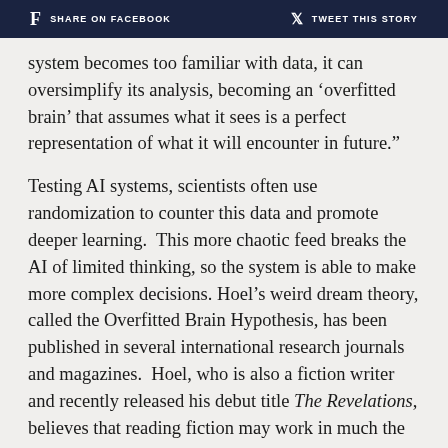f  SHARE ON FACEBOOK     🐦  TWEET THIS STORY
system becomes too familiar with data, it can oversimplify its analysis, becoming an ‘overfitted brain’ that assumes what it sees is a perfect representation of what it will encounter in future.”
Testing AI systems, scientists often use randomization to counter this data and promote deeper learning.  This more chaotic feed breaks the AI of limited thinking, so the system is able to make more complex decisions.  Hoel’s weird dream theory, called the Overfitted Brain Hypothesis, has been published in several international research journals and magazines.  Hoel, who is also a fiction writer and recently released his debut title The Revelations, believes that reading fiction may work in much the same way.
“Our brains are so good at learning that we’re always in danger of being overfitted,” Hoel said of his hypothesis.